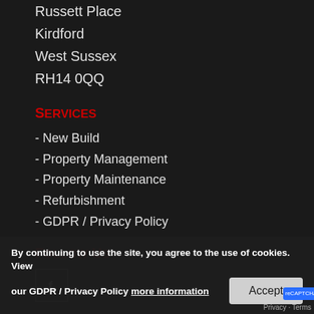Russett Place
Kirdford
West Sussex
RH14 0QQ
Services
- New Build
- Property Management
- Property Maintenance
- Refurbishment
- GDPR / Privacy Policy
Follow Us
[Figure (logo): Facebook icon in a square border]
By continuing to use the site, you agree to the use of cookies. View our GDPR / Privacy Policy more information
Accept